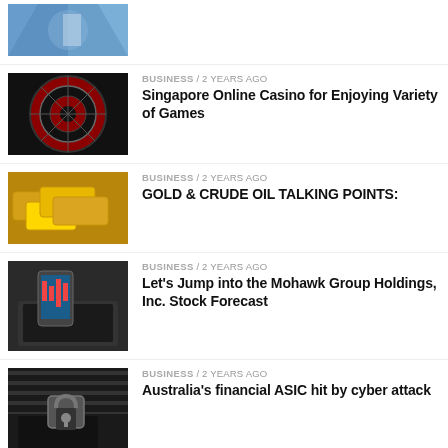[Figure (photo): Blue abstract/tech image, partially visible at top]
BUSINESS / 2 years ago
Singapore Online Casino for Enjoying Variety of Games
BUSINESS / 2 years ago
GOLD & CRUDE OIL TALKING POINTS:
BUSINESS / 2 years ago
Let's Jump into the Mohawk Group Holdings, Inc. Stock Forecast
BUSINESS / 2 years ago
Australia's financial ASIC hit by cyber attack
BUSINESS / 2 years ago
Consumer finances at risk as 4,000 City firms face collapse in Covid crisis